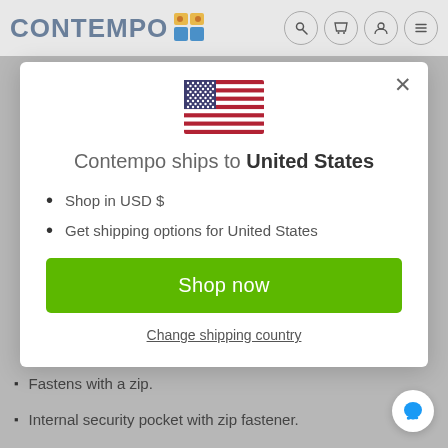CONTEMPO
[Figure (other): US flag emoji / icon in the modal]
Contempo ships to United States
Shop in USD $
Get shipping options for United States
Shop now
Change shipping country
Fastens with a zip.
Internal security pocket with zip fastener.